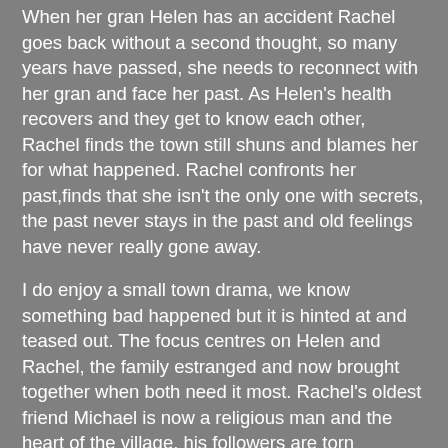When her gran Helen has an accident Rachel goes back without a second thought, so many years have passed, she needs to reconnect with her gran and face her past. As Helen's health recovers and they get to know each other, Rachel finds the town still shuns and blames her for what happened. Rachel confronts her past,finds that she isn't the only one with secrets, the past never stays in the past and old feelings have never really gone away.
I do enjoy a small town drama, we know something bad happened but it is hinted at and teased out. The focus centres on Helen and Rachel, the family estranged and now brought together when both need it most. Rachel's oldest friend Michael is now a religious man and the heart of the village, his followers are torn between their loyalty and his friendship with Rachel, her past and their seeming closeness.
Weaved with so many issues, family secrets, PTSD, religion, infidelity, love, lies, death and small town grudges it engages the reader quickly. As we flip from present day and dip into the past, the story gives us insight into the characters and